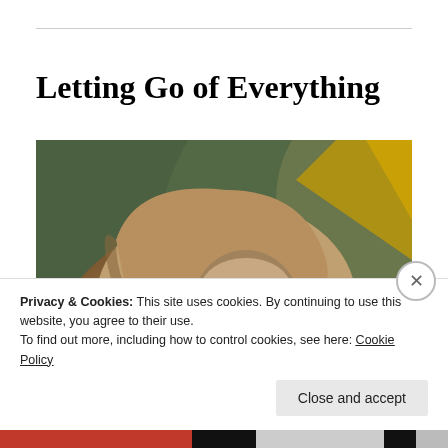Letting Go of Everything
[Figure (photo): Close-up painting of a robed monk or saint figure wearing a brown hooded robe with a cross symbol, with a green and gold background. The figure has a white beard and is clasping his hands. This appears to be a detail from a Hieronymus Bosch painting, possibly depicting Saint Anthony.]
Privacy & Cookies: This site uses cookies. By continuing to use this website, you agree to their use.
To find out more, including how to control cookies, see here: Cookie Policy
Close and accept